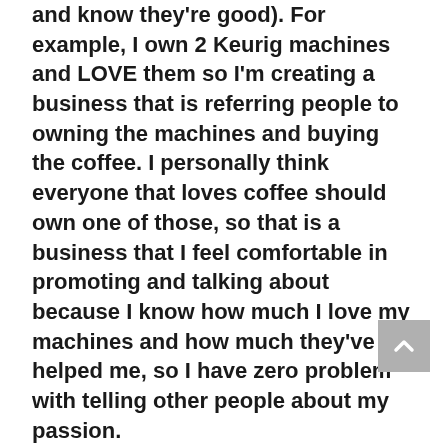and know they're good). For example, I own 2 Keurig machines and LOVE them so I'm creating a business that is referring people to owning the machines and buying the coffee. I personally think everyone that loves coffee should own one of those, so that is a business that I feel comfortable in promoting and talking about because I know how much I love my machines and how much they've helped me, so I have zero problem with telling other people about my passion.
Too many times I see people just